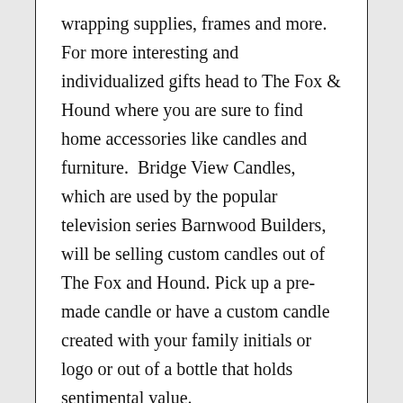wrapping supplies, frames and more. For more interesting and individualized gifts head to The Fox & Hound where you are sure to find home accessories like candles and furniture.  Bridge View Candles, which are used by the popular television series Barnwood Builders, will be selling custom candles out of The Fox and Hound. Pick up a pre-made candle or have a custom candle created with your family initials or logo or out of a bottle that holds sentimental value.
Looking for more handmade West Virginia items check out Wild art And Wonderful Things and Studio B. Studio B has a large